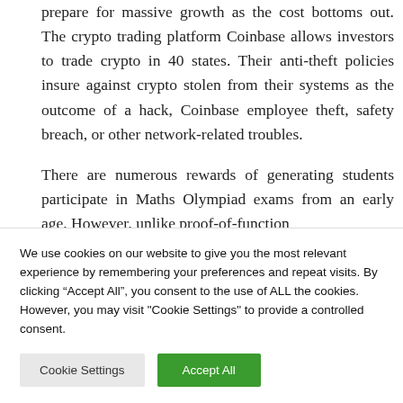prepare for massive growth as the cost bottoms out. The crypto trading platform Coinbase allows investors to trade crypto in 40 states. Their anti-theft policies insure against crypto stolen from their systems as the outcome of a hack, Coinbase employee theft, safety breach, or other network-related troubles.
There are numerous rewards of generating students participate in Maths Olympiad exams from an early age. However, unlike proof-of-function
We use cookies on our website to give you the most relevant experience by remembering your preferences and repeat visits. By clicking “Accept All”, you consent to the use of ALL the cookies. However, you may visit "Cookie Settings" to provide a controlled consent.